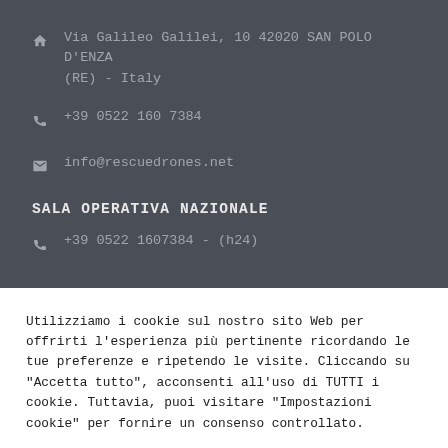Via Galileo Galilei, 10 42020 SAN POLO D'ENZA (RE) - Italy
+39 0522 160 7384
info@rescuedrones.net
SALA OPERATIVA NAZIONALE
+39 0522 1607384 - (h24)
Utilizziamo i cookie sul nostro sito Web per offrirti l'esperienza più pertinente ricordando le tue preferenze e ripetendo le visite. Cliccando su "Accetta tutto", acconsenti all'uso di TUTTI i cookie. Tuttavia, puoi visitare "Impostazioni cookie" per fornire un consenso controllato.
Cookie Settings
Accept All